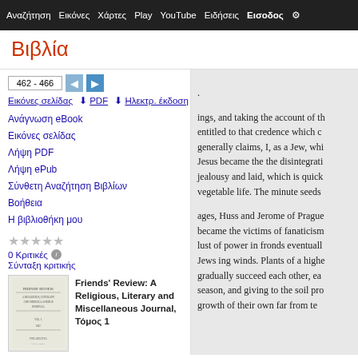Αναζήτηση  Εικόνες  Χάρτες  Play  YouTube  Ειδήσεις  Εισoδος  Ρυθμίσεις
Βιβλία
Εικόνες σελίδας
462 - 466
Ανάγνωση eBook
Εικόνες σελίδας
Λήψη PDF
Λήψη ePub
Σύνθετη Αναζήτηση Βιβλίων
Βοήθεια
Η βιβλιοθήκη μου
0 Κριτικές
Σύνταξη κριτικής
Friends' Review: A Religious, Literary and Miscellaneous Journal, Τόμος 1
ings, and taking the account of th entitled to that credence which c generally claims, I, as a Jew, whi Jesus became the the disintegrati jealousy and laid, which is quick vegetable life. The minute seeds ages, Huss and Jerome of Prague became the victims of fanaticism lust of power in fronds eventuall Jews ing winds. Plants of a highe gradually succeed each other, ea season, and giving to the soil pro growth of their own far from te